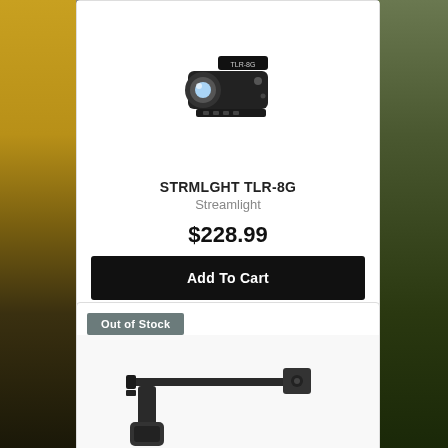[Figure (photo): Streamlight TLR-8G weapon-mounted flashlight with green laser, black tactical light on white background]
STRMLGHT TLR-8G
Streamlight
$228.99
Add To Cart
Out of Stock
[Figure (photo): Folding pistol brace or stock attachment, black polymer, shown partially folded on white background]